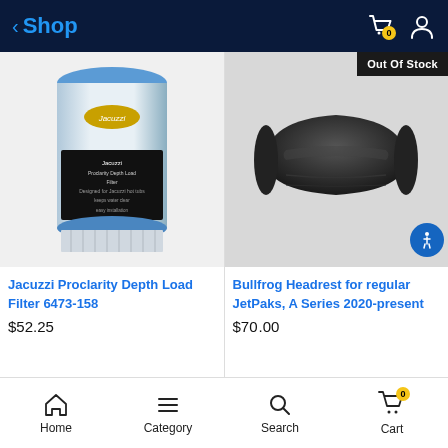Shop
[Figure (photo): Jacuzzi Proclarity Depth Load Filter 6473-158 product image - cylindrical pool filter with blue ends and black label]
Jacuzzi Proclarity Depth Load Filter 6473-158
$52.25
[Figure (photo): Bullfrog Headrest for regular JetPaks, A Series 2020-present - black curved headrest pillow. Out Of Stock banner shown.]
Bullfrog Headrest for regular JetPaks, A Series 2020-present
$70.00
Home  Category  Search  Cart